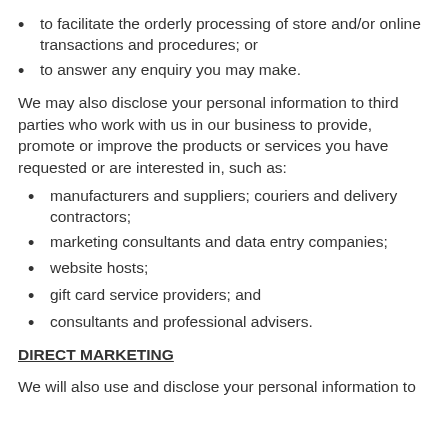to facilitate the orderly processing of store and/or online transactions and procedures; or
to answer any enquiry you may make.
We may also disclose your personal information to third parties who work with us in our business to provide, promote or improve the products or services you have requested or are interested in, such as:
manufacturers and suppliers; couriers and delivery contractors;
marketing consultants and data entry companies;
website hosts;
gift card service providers; and
consultants and professional advisers.
DIRECT MARKETING
We will also use and disclose your personal information to